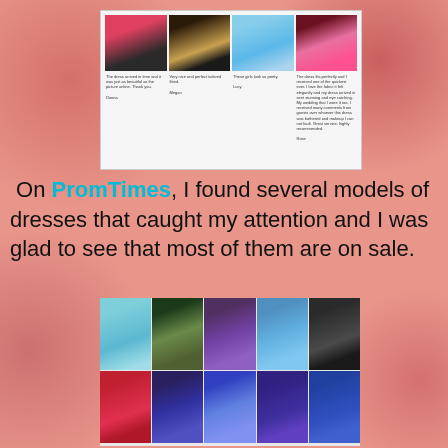[Figure (screenshot): Screenshot of PromTimes website showing four prom dress photos with customer review captions below each photo]
On PromTimes, I found several models of dresses that caught my attention and I was glad to see that most of them are on sale.
[Figure (screenshot): Grid of prom dress product images from PromTimes website showing various colored dresses in two rows of five]